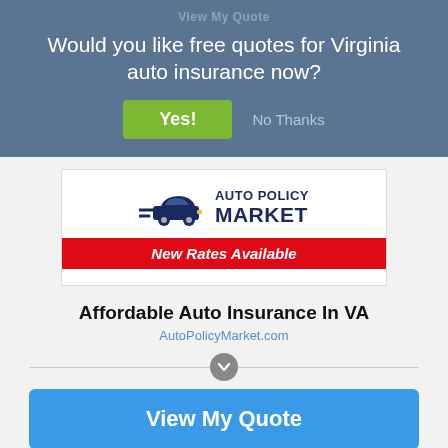View My Quote
Would you like free quotes for Virginia auto insurance now?
Yes!
No Thanks
[Figure (logo): Auto Policy Market logo with car icon and red 'New Rates Available' banner]
Affordable Auto Insurance In VA
AutoPolicyMarket.com
View My Quote
COMPARE RATES